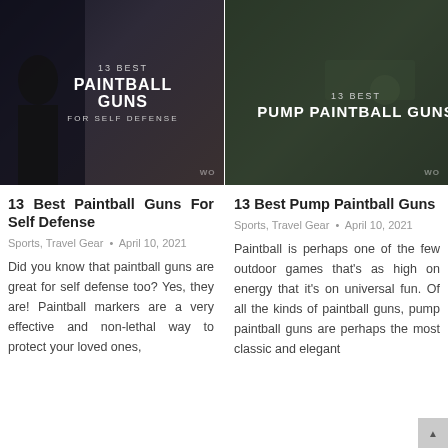[Figure (photo): Dark themed image with text overlay reading '13 BEST PAINTBALL GUNS FOR SELF DEFENSE' on a dark background with a person silhouette]
[Figure (photo): Dark forest/outdoor themed image with text overlay reading '13 BEST PUMP PAINTBALL GUNS' on a dark green background]
13 Best Paintball Guns For Self Defense
13 Best Pump Paintball Guns
Sports, Travel Gear • April 10, 2021
Sports, Travel Gear • April 10, 2021
Did you know that paintball guns are great for self defense too? Yes, they are! Paintball markers are a very effective and non-lethal way to protect your loved ones,
Paintball is perhaps one of the few outdoor games that's as high on energy that it's on universal fun. Of all the kinds of paintball guns, pump paintball guns are perhaps the most classic and elegant